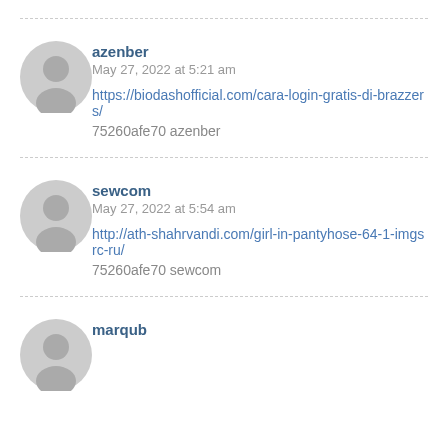[Figure (illustration): Grey user avatar icon for azenber]
azenber
May 27, 2022 at 5:21 am
https://biodashofficial.com/cara-login-gratis-di-brazzers/
75260afe70 azenber
[Figure (illustration): Grey user avatar icon for sewcom]
sewcom
May 27, 2022 at 5:54 am
http://ath-shahrvandi.com/girl-in-pantyhose-64-1-imgsrc-ru/
75260afe70 sewcom
[Figure (illustration): Grey user avatar icon for marqub (partially visible)]
marqub